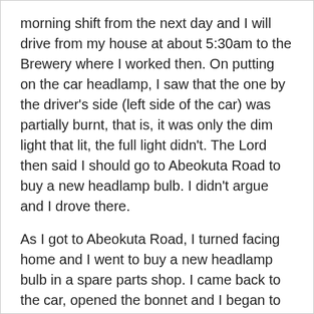morning shift from the next day and I will drive from my house at about 5:30am to the Brewery where I worked then. On putting on the car headlamp, I saw that the one by the driver's side (left side of the car) was partially burnt, that is, it was only the dim light that lit, the full light didn't. The Lord then said I should go to Abeokuta Road to buy a new headlamp bulb. I didn't argue and I drove there.
As I got to Abeokuta Road, I turned facing home and I went to buy a new headlamp bulb in a spare parts shop. I came back to the car, opened the bonnet and I began to remove the partially burnt headlamp bulb so that I can replace it with a new one. Suddenly, I saw a boy of 12-14 years moving from the back of the car through the other side of the car. I noticed him when he got to the other side of the bonnet as I couldn't see the back of the car since the bonnet was opened.